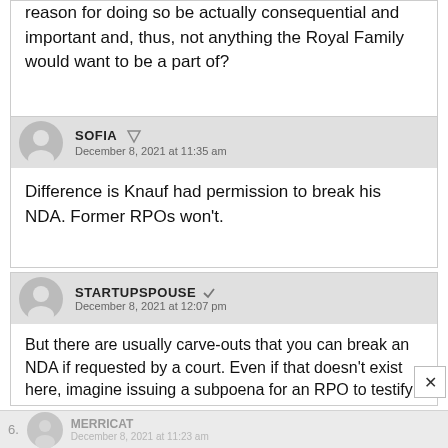reason for doing so be actually consequential and important and, thus, not anything the Royal Family would want to be a part of?
SOFIA
December 8, 2021 at 11:35 am
Difference is Knauf had permission to break his NDA. Former RPOs won't.
STARTUPSPOUSE
December 8, 2021 at 12:07 pm
But there are usually carve-outs that you can break an NDA if requested by a court. Even if that doesn't exist here, imagine issuing a subpoena for an RPO to testify in a sex trafficking case and BP objecting to that? PR nightmare.
6. MERRICAT
December 8, 2021 at 11:23 am